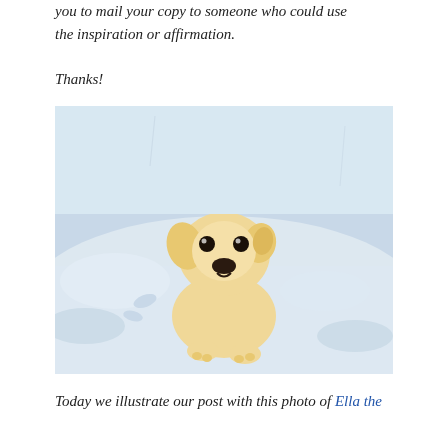you to mail your copy to someone who could use the inspiration or affirmation.
Thanks!
[Figure (photo): A yellow Labrador puppy sitting in snow, looking up at the camera with dark eyes and a black nose.]
Today we illustrate our post with this photo of Ella the